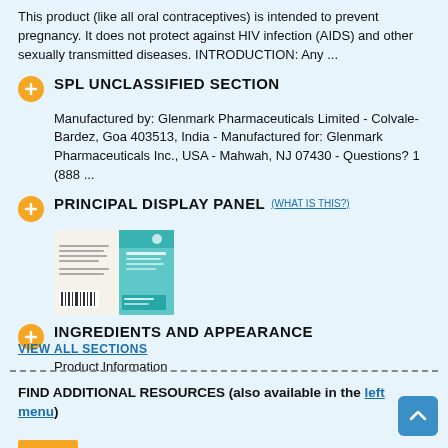This product (like all oral contraceptives) is intended to prevent pregnancy. It does not protect against HIV infection (AIDS) and other sexually transmitted diseases. INTRODUCTION: Any ...
SPL UNCLASSIFIED SECTION
Manufactured by: Glenmark Pharmaceuticals Limited - Colvale-Bardez, Goa 403513, India - Manufactured for: Glenmark Pharmaceuticals Inc., USA - Mahwah, NJ 07430 - Questions? 1 (888 ...
PRINCIPAL DISPLAY PANEL (WHAT IS THIS?)
[Figure (photo): Photograph of Glenmark pharmaceutical product packaging - a box with teal/blue branding]
INGREDIENTS AND APPEARANCE
Product Information
VIEW ALL SECTIONS
FIND ADDITIONAL RESOURCES (also available in the left menu)